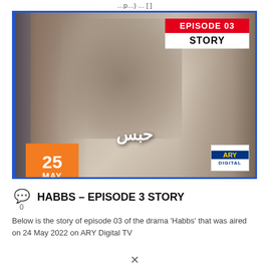…p…) … [ ]
[Figure (photo): Drama poster for 'Habbs' Episode 03 Story on ARY Digital TV. Shows three people: man on left, couple embracing in center, woman on right. Orange date box '25 MAY' in bottom left. Episode 03 Story banner in top right. ARY Digital logo in bottom right. Arabic text حبس in center-bottom.]
25 MAY
HABBS – EPISODE 3 STORY
Below is the story of episode 03 of the drama 'Habbs' that was aired on 24 May 2022 on ARY Digital TV